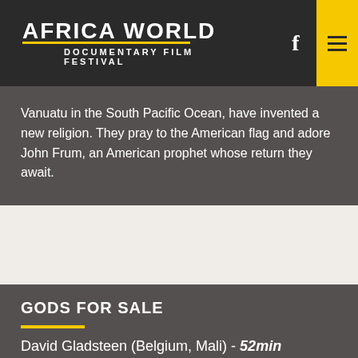AFRICA WORLD DOCUMENTARY FILM FESTIVAL
Vanuatu in the South Pacific Ocean, have invented a new religion. They pray to the American flag and adore John Frum, an American prophet whose return they await.
GODS FOR SALE
David Gladsteen (Belgium, Mali) - 52min